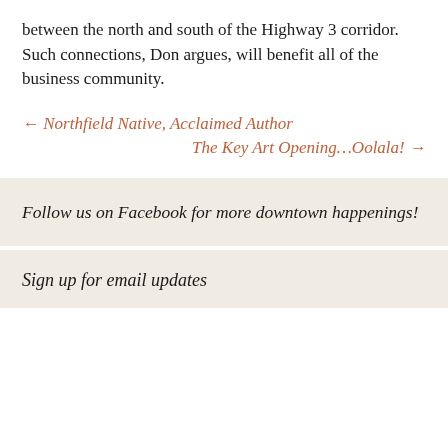between the north and south of the Highway 3 corridor. Such connections, Don argues, will benefit all of the business community.
← Northfield Native, Acclaimed Author
The Key Art Opening…Oolala! →
Follow us on Facebook for more downtown happenings!
Sign up for email updates